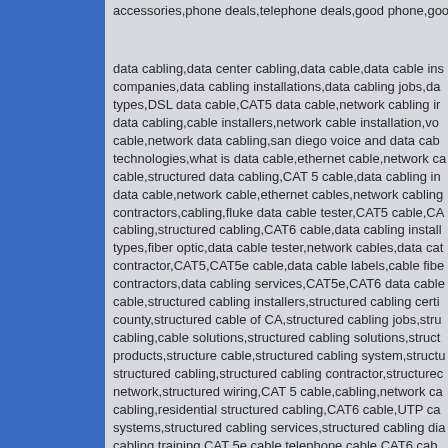accessories,phone deals,telephone deals,good phone,good...
data cabling,data center cabling,data cable,data cable installations,data cabling companies,data cabling installations,data cabling jobs,data cable types,DSL data cable,CAT5 data cable,network cabling installation,data cabling,cable installers,network cable installation,voice cable,network data cabling,san diego voice and data cabling technologies,what is data cable,ethernet cable,network cable,structured data cabling,CAT 5 cable,data cabling installation,data cable,network cable,ethernet cables,network cabling contractors,cabling,fluke data cable tester,CAT5 cable,CAT5 cabling,structured cabling,CAT6 cable,data cabling installation types,fiber optic,data cable tester,network cables,data cable contractor,CAT5,CAT5e cable,data cable labels,cable fiber contractors,data cabling services,CAT5e,CAT6 data cable,cable,structured cabling installers,structured cabling certification,county,structured cable of CA,structured cabling jobs,structured cabling,cable solutions,structured cabling solutions,structured products,structure cable,structured cabling system,structured structured cabling,structured cabling contractor,structured network,structured wiring,CAT 5 cable,cabling,network cabling,residential structured cabling,CAT6 cable,UTP cabling systems,structured cabling services,structured cabling diagrams,cabling training,CAT 5e cable,telephone cable,CAT6 cable,cable,camera cables,CAT 5 cable wiring,what is structured connectors,network,installation,network cable installation,vendors,ethernet cable wiring,CAT 6 cable,structured cabling,TIA EIA structured cabling standards,LAn cable,W services,structured cabling installers,CAT5e,network cable installers,structured cabling estimating software,CAT 6,b